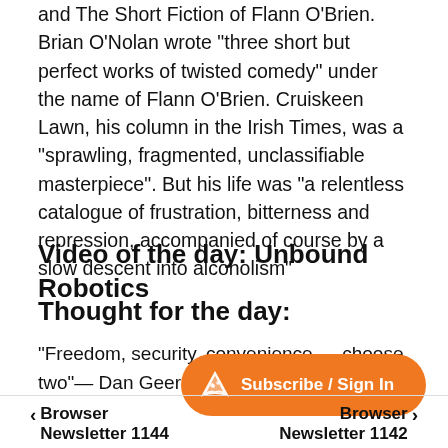and The Short Fiction of Flann O'Brien. Brian O'Nolan wrote "three short but perfect works of twisted comedy" under the name of Flann O'Brien. Cruiskeen Lawn, his column in the Irish Times, was a "sprawling, fragmented, unclassifiable masterpiece". But his life was "a relentless catalogue of frustration, bitterness and repression, accompanied of course by a slow descent into alcoholism"
Video of the day: Unbound Robotics
Thought for the day:
"Freedom, security, convenience — choose two"— Dan Geer
[Figure (other): Subscribe / Sign In orange button with pizza slice icon]
< Browser Newsletter 1144    Browser Newsletter 1142 >